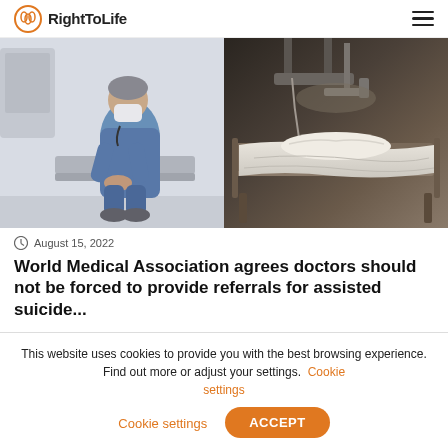RightToLife
[Figure (photo): Left: A doctor/medical professional in blue scrubs and a face mask sitting hunched over with hands clasped, looking downward in a clinical setting. Right: An empty hospital bed with white linens in a dimly lit hospital room with medical equipment overhead.]
August 15, 2022
World Medical Association agrees doctors should not be forced to provide referrals for assisted suicide...
This website uses cookies to provide you with the best browsing experience. Find out more or adjust your settings. Cookie settings
ACCEPT